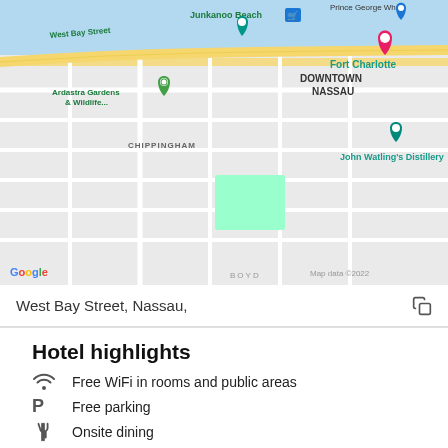[Figure (map): Google Maps screenshot showing Nassau, Bahamas area with landmarks including Junkanoo Beach, Fort Charlotte, Ardastra Gardens & Wildlife, John Watling's Distillery, Queen's Staircase, Downtown Nassau, Oaktree Medical Center, Prince George Wharf, West Bay Street, Boyd, Chippingham. Map data ©2022.]
West Bay Street, Nassau,
Hotel highlights
Free WiFi in rooms and public areas
Free parking
Onsite dining
2 outdoor pools
Located in Downtown Nassau, Courtyard by Marriott Nassau Downtown/Junkanoo Beach is a leisurely stroll from popular sights such as Cenotaph and Parliament House. This 201-room, 3.5-star resort welcomes guests with 2 outdoor pools, a restaurant, and a 24-